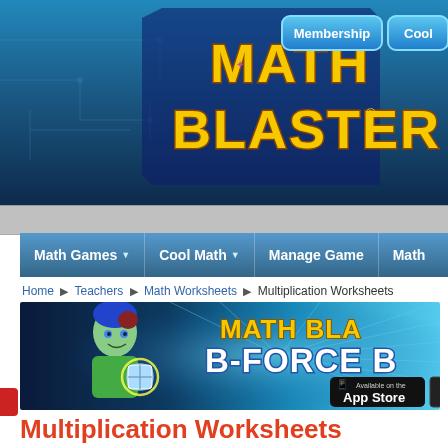[Figure (screenshot): Math Blaster website header with logo in yellow/gold text on dark blue background, Membership and Cool navigation buttons on top right]
Math Games | Cool Math | Manage Game | Math
Home ▶ Teachers ▶ Math Worksheets ▶ Multiplication Worksheets
[Figure (illustration): Math Blaster B-Force Blaster promotional banner with 3D animated character boy in green outfit holding glowing shield device, with App Store badge visible]
Multiplication Worksheets